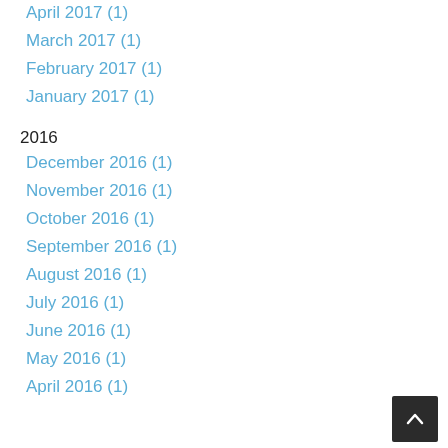April 2017 (1)
March 2017 (1)
February 2017 (1)
January 2017 (1)
2016
December 2016 (1)
November 2016 (1)
October 2016 (1)
September 2016 (1)
August 2016 (1)
July 2016 (1)
June 2016 (1)
May 2016 (1)
April 2016 (1)
March 2016 (1)
February 2016 (1)
January 2016 (1)
2015